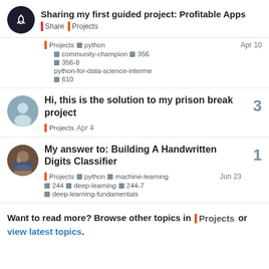Sharing my first guided project: Profitable Apps
Projects  python  Apr 10
community-champion 356
356-8
python-for-data-science-interme...
610
Hi, this is the solution to my prison break project
Projects  Apr 4
My answer to: Building A Handwritten Digits Classifier
Projects  python  machine-learning  Jun 23
244  deep-learning  244-7
deep-learning-fundamentals
Want to read more? Browse other topics in Projects or view latest topics.